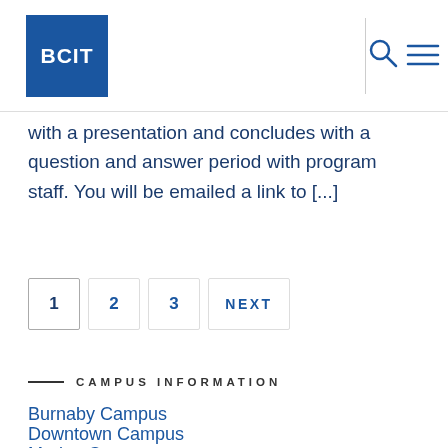BCIT
with a presentation and concludes with a question and answer period with program staff. You will be emailed a link to [...]
1  2  3  NEXT
CAMPUS INFORMATION
Burnaby Campus
Downtown Campus
Marine Campus